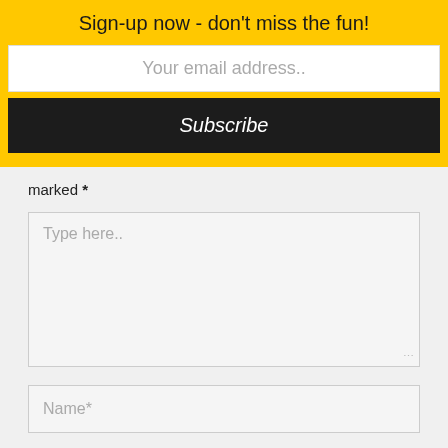Sign-up now - don't miss the fun!
Your email address..
Subscribe
marked *
Type here..
Name*